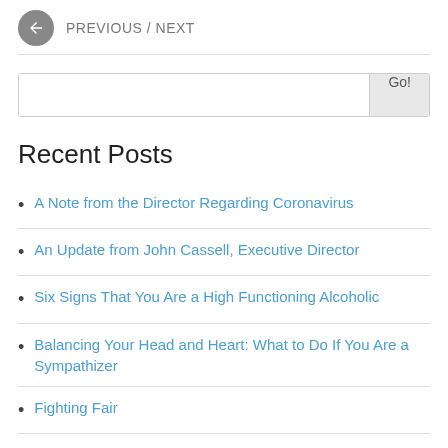PREVIOUS / NEXT
A Note from the Director Regarding Coronavirus
An Update from John Cassell, Executive Director
Six Signs That You Are a High Functioning Alcoholic
Balancing Your Head and Heart: What to Do If You Are a Sympathizer
Fighting Fair
Recent Posts
Archives